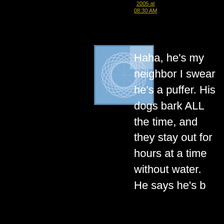2005 at 08:30 AM
[Figure (illustration): Square avatar image with blue geometric pattern on light blue/white background]
Haha, he's my neighbor I swear he's a puffer. His dogs bark ALL the time, and they stay out for hours at a time without water. He says he's b...